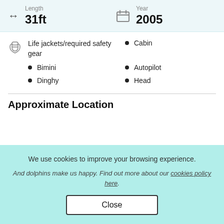Length 31ft / Year 2005
Life jackets/required safety gear
Cabin
Bimini
Autopilot
Dinghy
Head
Approximate Location
We use cookies to improve your browsing experience.
And dolphins make us happy. Find out more about our cookies policy here.
Close